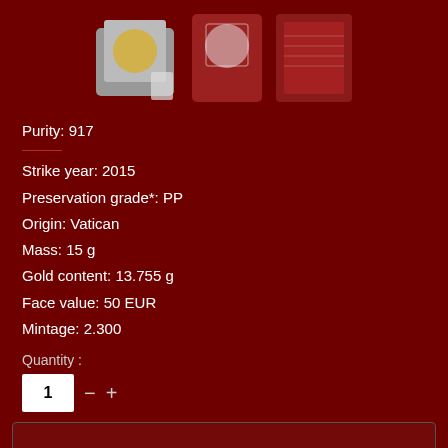[Figure (photo): Three product images at top: a coin in a gift box, a red velvet pouch/case, and a red booklet/certificate, on a dark red background.]
Purity: 917
Strike year: 2015
Preservation grade*: PP
Origin: Vatican
Mass: 15 g
Gold content: 13.755 g
Face value: 50 EUR
Mintage: 2.300
Quantity :
1 990,00 €